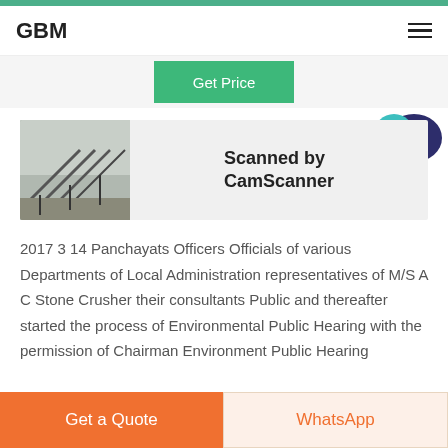GBM
[Figure (screenshot): Get Price button and Live Chat bubble on website header]
[Figure (photo): Industrial conveyor/crusher equipment photo with 'Scanned by CamScanner' label]
2017 3 14 Panchayats Officers Officials of various Departments of Local Administration representatives of M/S A C Stone Crusher their consultants Public and thereafter started the process of Environmental Public Hearing with the permission of Chairman Environment Public Hearing